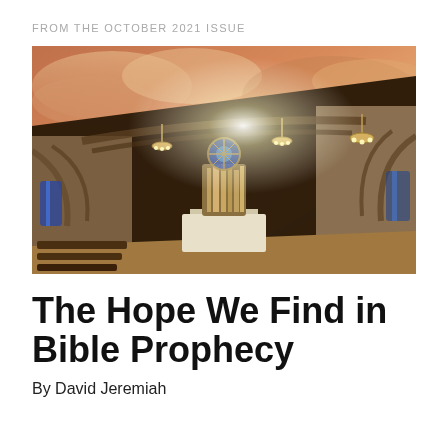FROM THE OCTOBER 2021 ISSUE
[Figure (photo): Interior of a church with arched ceiling, pipe organ, chandelier lights, stained glass rose window, altar, and dramatic sky visible through the architecture — warm orange and golden tones]
The Hope We Find in Bible Prophecy
By David Jeremiah